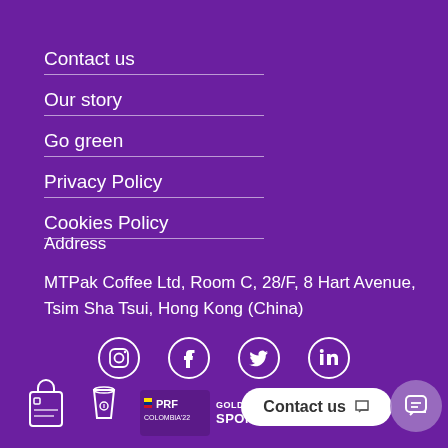Contact us
Our story
Go green
Privacy Policy
Cookies Policy
Address
MTPak Coffee Ltd, Room C, 28/F, 8 Hart Avenue, Tsim Sha Tsui, Hong Kong (China)
[Figure (infographic): Social media icons in white circles: Instagram, Facebook, Twitter, LinkedIn]
[Figure (infographic): Small product icons (bag and cup) and PRF Colombia 22 Gold Sponsor logo badge at the bottom]
[Figure (infographic): Contact us chat bubble button with messenger icon]